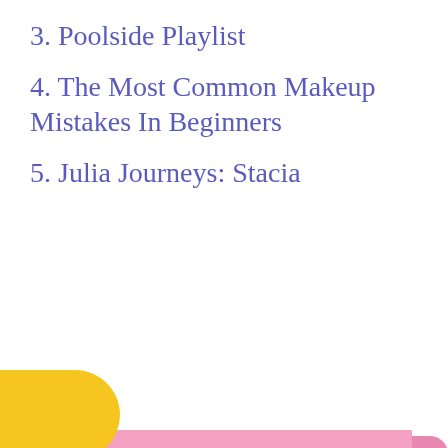3. Poolside Playlist
4. The Most Common Makeup Mistakes In Beginners
5. Julia Journeys: Stacia
[Figure (screenshot): Pink promotional box titled 'Shop Beauty Products' showing a young woman applying mascara, with a pink MENU bar at the bottom and a yellow blob shape on the lower left.]